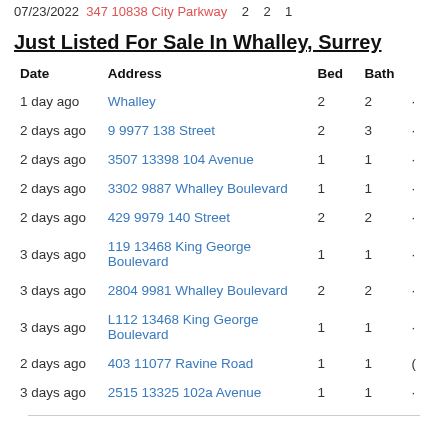07/23/2022   347 10838 City Parkway   2   2   1
Just Listed For Sale In Whalley, Surrey
| Date | Address | Bed | Bath |  |
| --- | --- | --- | --- | --- |
| 1 day ago | Whalley | 2 | 2 | · |
| 2 days ago | 9 9977 138 Street | 2 | 3 | · |
| 2 days ago | 3507 13398 104 Avenue | 1 | 1 | · |
| 2 days ago | 3302 9887 Whalley Boulevard | 1 | 1 | · |
| 2 days ago | 429 9979 140 Street | 2 | 2 | · |
| 3 days ago | 119 13468 King George Boulevard | 1 | 1 | · |
| 3 days ago | 2804 9981 Whalley Boulevard | 2 | 2 | · |
| 3 days ago | L112 13468 King George Boulevard | 1 | 1 | · |
| 2 days ago | 403 11077 Ravine Road | 1 | 1 | ( |
| 3 days ago | 2515 13325 102a Avenue | 1 | 1 | · |